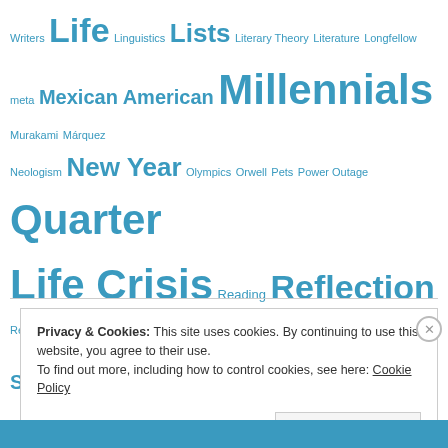Writers Life Linguistics Lists Literary Theory Literature Longfellow meta Mexican American Millennials Murakami Márquez Neologism New Year Olympics Orwell Pets Power Outage Quarter Life Crisis Reading Reflection Resolutions Rio Santa Claus Satire Seattle Short Stories Sonder Spanish Spiritual Life Storytelling Study Abroad Swimming Thanksgiving The News Thoughts on... Toddlers Travel True Story Uruguay Weight Loss Welkin Wilde Writing Year in Review
Privacy & Cookies: This site uses cookies. By continuing to use this website, you agree to their use.
To find out more, including how to control cookies, see here: Cookie Policy
Close and accept